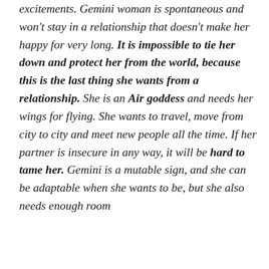excitements. Gemini woman is spontaneous and won't stay in a relationship that doesn't make her happy for very long. It is impossible to tie her down and protect her from the world, because this is the last thing she wants from a relationship. She is an Air goddess and needs her wings for flying. She wants to travel, move from city to city and meet new people all the time. If her partner is insecure in any way, it will be hard to tame her. Gemini is a mutable sign, and she can be adaptable when she wants to be, but she also needs enough room